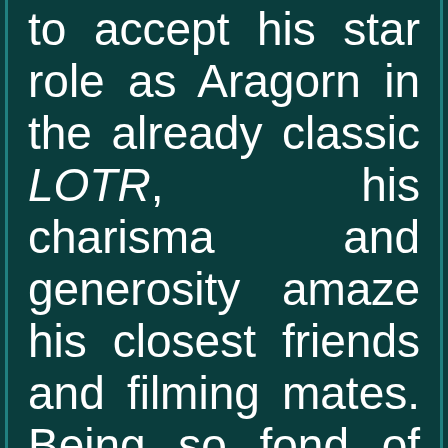to accept his star role as Aragorn in the already classic LOTR, his charisma and generosity amaze his closest friends and filming mates. Being so fond of horses he bought Brego and Hasufel after shooting the